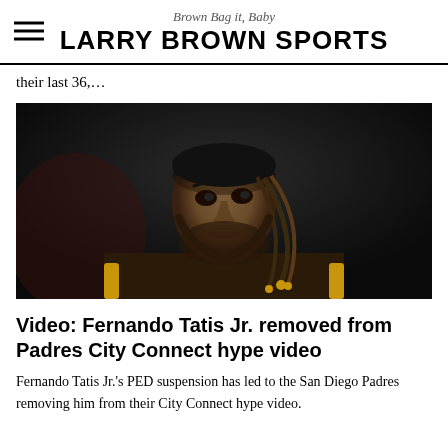Brown Bag it, Baby — LARRY BROWN SPORTS
their last 36,…
[Figure (photo): Close-up photo of Fernando Tatis Jr. wearing a brown and gold hoodie, looking upward, with braided hair, against a dark background.]
Video: Fernando Tatis Jr. removed from Padres City Connect hype video
Fernando Tatis Jr.'s PED suspension has led to the San Diego Padres removing him from their City Connect hype video.